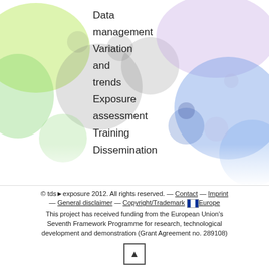[Figure (illustration): Colorful bokeh bubble background with green, yellow, blue, purple, and grey blurred circles on white background, filling upper portion of page.]
Data management
Variation and trends
Exposure assessment
Training
Dissemination
© tds▶exposure 2012. All rights reserved. — Contact — Imprint — General disclaimer — Copyright/Trademark Europe
This project has received funding from the European Union's Seventh Framework Programme for research, technological development and demonstration (Grant Agreement no. 289108)